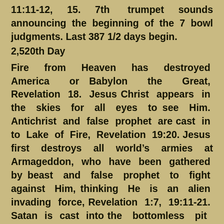11:11-12, 15. 7th trumpet sounds announcing the beginning of the 7 bowl judgments. Last 387 1/2 days begin.
2,520th Day
Fire from Heaven has destroyed America or Babylon the Great, Revelation 18. Jesus Christ appears in the skies for all eyes to see Him. Antichrist and false prophet are cast in to Lake of Fire, Revelation 19:20. Jesus first destroys all world’s armies at Armageddon, who have been gathered by beast and false prophet to fight against Him, thinking He is an alien invading force, Revelation 1:7, 19:11-21. Satan is cast into the bottomless pit for 1,000 years, Revelation 20:1-3. All saints who were in